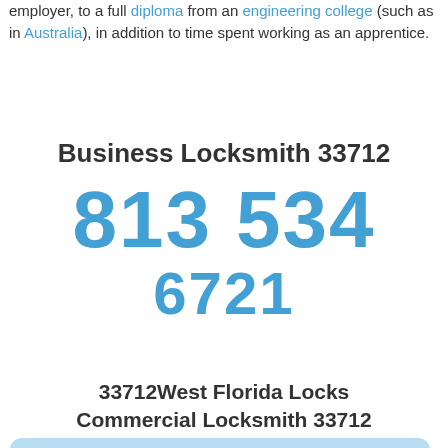employer, to a full diploma from an engineering college (such as in Australia), in addition to time spent working as an apprentice.
Business Locksmith 33712
813 534
6721
33712West Florida Locks Commercial Locksmith 33712
Locksmith 33712: The security of your organization is essential to us, and our certified West Florida Locks industrial technicians ensure that we'll